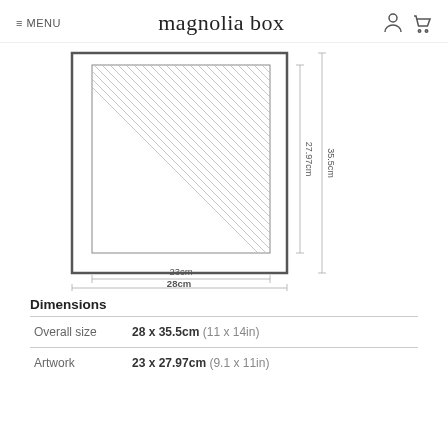≡ MENU   magnolia box
[Figure (engineering-diagram): Technical schematic diagram showing a framed artwork with hatched print area. Dimension lines indicate: width 23cm (print) and 28cm (frame), height 27.97cm (print) and 35.5cm (frame).]
Dimensions
| Overall size | 28 x 35.5cm (11 x 14in) |
| Artwork | 23 x 27.97cm (9.1 x 11in) |